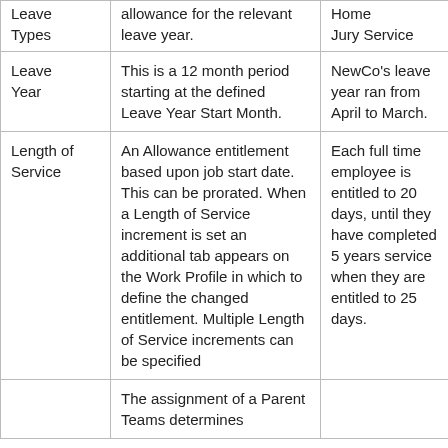| Leave Types | allowance for the relevant leave year. | Home
Jury Service |
| Leave Year | This is a 12 month period starting at the defined Leave Year Start Month. | NewCo's leave year ran from April to March. |
| Length of Service | An Allowance entitlement based upon job start date. This can be prorated. When a Length of Service increment is set an additional tab appears on the Work Profile in which to define the changed entitlement. Multiple Length of Service increments can be specified | Each full time employee is entitled to 20 days, until they have completed 5 years service when they are entitled to 25 days. |
|  | The assignment of a Parent Teams determines |  |